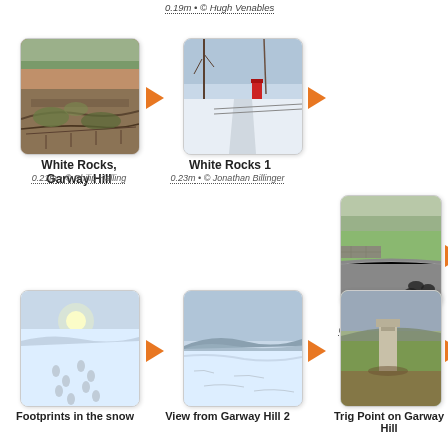0.19m • © Hugh Venables
[Figure (photo): Landscape hillside photo - White Rocks, Garway Hill]
[Figure (photo): Snowy path with red post box - White Rocks 1]
White Rocks, Garway Hill
0.21m • © Philip Halling
White Rocks 1
0.23m • © Jonathan Billinger
[Figure (photo): Road/karting track with tyres - Karting Track]
Karting Track
0.23m • © Philip Halling
[Figure (photo): Snowy hillside with footprints - Footprints in the snow]
[Figure (photo): Snowy hilltop view - View from Garway Hill 2]
[Figure (photo): Standing stone on hillside - Trig Point on Garway Hill]
Footprints in the snow
View from Garway Hill 2
Trig Point on Garway Hill